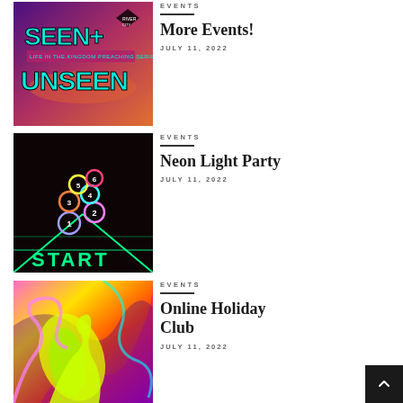[Figure (photo): Seen+Unseen: Life in the Kingdom Preaching Series promotional image with neon text on purple/pink gradient background]
EVENTS
More Events!
JULY 11, 2022
[Figure (photo): Neon light hopscotch START floor game with glowing circles numbered 1-6 in dark room]
EVENTS
Neon Light Party
JULY 11, 2022
[Figure (photo): Colorful abstract swirling paint with yellow slime/putty on top]
EVENTS
Online Holiday Club
JULY 11, 2022